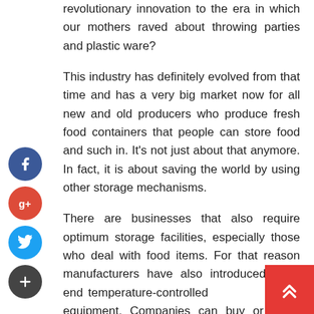revolutionary innovation to the era in which our mothers raved about throwing parties and plastic ware?
This industry has definitely evolved from that time and has a very big market now for all new and old producers who produce fresh food containers that people can store food and such in. It's not just about that anymore. In fact, it is about saving the world by using other storage mechanisms.
There are businesses that also require optimum storage facilities, especially those who deal with food items. For that reason manufacturers have also introduced high-end temperature-controlled equipment. Companies can buy or lease cool rooms for their business needs. You can also look for a
[Figure (infographic): Social media share icons on the left side: Facebook (blue circle with f), Google+ (red circle with g+), Twitter (light blue circle with bird), and a dark plus/add icon.]
[Figure (infographic): Red scroll-to-top button in the bottom right corner with a white double chevron/arrow pointing upward.]